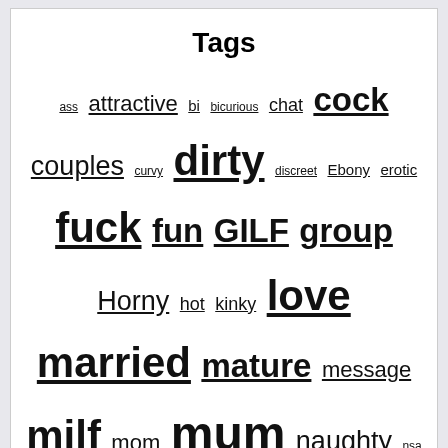Tags
ass attractive bi bicurious chat cock couples curvy dirty discreet Ebony erotic fuck fun GILF group Horny hot kinky love married mature message milf mom mum naughty nsa nurse nymph old open minded oral oral sex orgy pics pussy sex sharing Single slim student wet wife wild
♥ Search By Area
Sponsored Ads
[Figure (logo): FAPPER Chat! logo with advertisement image]